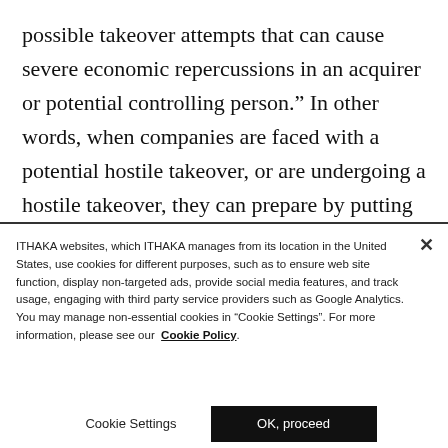possible takeover attempts that can cause severe economic repercussions in an acquirer or potential controlling person.” In other words, when companies are faced with a potential hostile takeover, or are undergoing a hostile takeover, they can prepare by putting contingency plans in place.
ITHAKA websites, which ITHAKA manages from its location in the United States, use cookies for different purposes, such as to ensure web site function, display non-targeted ads, provide social media features, and track usage, engaging with third party service providers such as Google Analytics. You may manage non-essential cookies in “Cookie Settings”. For more information, please see our Cookie Policy.
Cookie Settings
OK, proceed